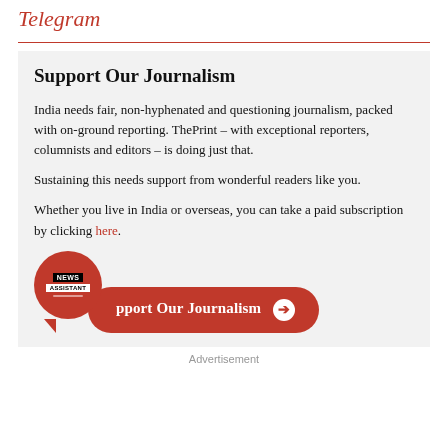Telegram
Support Our Journalism
India needs fair, non-hyphenated and questioning journalism, packed with on-ground reporting. ThePrint – with exceptional reporters, columnists and editors – is doing just that.
Sustaining this needs support from wonderful readers like you.
Whether you live in India or overseas, you can take a paid subscription by clicking here.
[Figure (other): Orange CTA button reading 'Support Our Journalism' with an arrow icon, and a News Assistant chat bubble logo overlapping the left side]
Advertisement